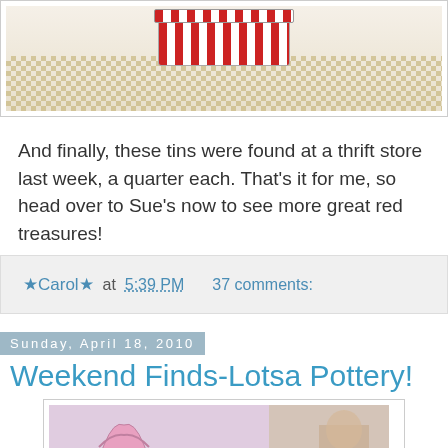[Figure (photo): Photo of red and white striped tins on a lace doily mat]
And finally, these tins were found at a thrift store last week, a quarter each. That's it for me, so head over to Sue's now to see more great red treasures!
★Carol★  at  5:39 PM    37 comments:
Sunday, April 18, 2010
Weekend Finds-Lotsa Pottery!
[Figure (photo): Photo of pink pottery pieces including a vase and ruffled bowl]